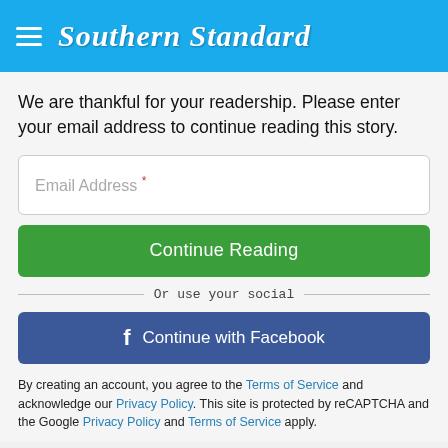Southern Standard
We are thankful for your readership. Please enter your email address to continue reading this story.
Email Address *
Continue Reading
Or use your social
Continue with Facebook
By creating an account, you agree to the Terms of Service and acknowledge our Privacy Policy. This site is protected by reCAPTCHA and the Google Privacy Policy and Terms of Service apply.